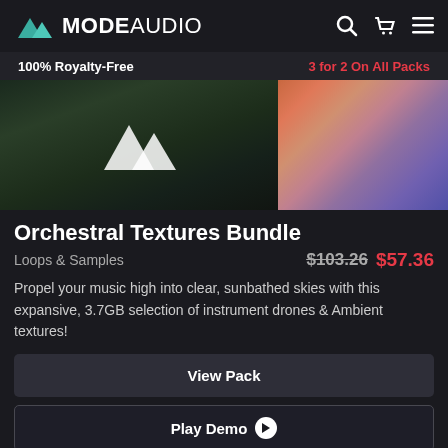MODE AUDIO
100% Royalty-Free    3 for 2 On All Packs
[Figure (photo): Two product images side by side: left shows a dark forest/mountain scene with white ModeAudio logo triangles, right shows a colorful pink/purple cloudy texture background]
Orchestral Textures Bundle
Loops & Samples    $103.26  $57.36
Propel your music high into clear, sunbathed skies with this expansive, 3.7GB selection of instrument drones & Ambient textures!
View Pack
Play Demo